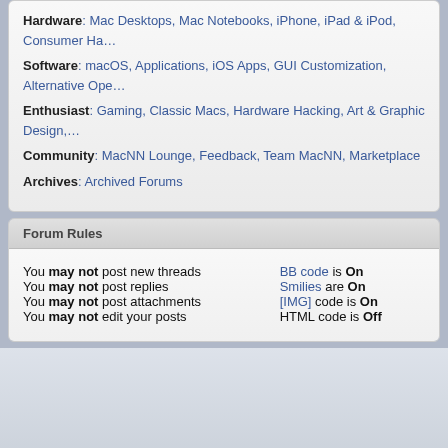Hardware: Mac Desktops, Mac Notebooks, iPhone, iPad & iPod, Consumer Ha…
Software: macOS, Applications, iOS Apps, GUI Customization, Alternative Ope…
Enthusiast: Gaming, Classic Macs, Hardware Hacking, Art & Graphic Design,…
Community: MacNN Lounge, Feedback, Team MacNN, Marketplace
Archives: Archived Forums
Forum Rules
You may not post new threads
You may not post replies
You may not post attachments
You may not edit your posts
BB code is On
Smilies are On
[IMG] code is On
HTML code is Off
↑ Top   Privacy Policy   All times are GMT -4. The time now is 04:27 PM.   All contents…